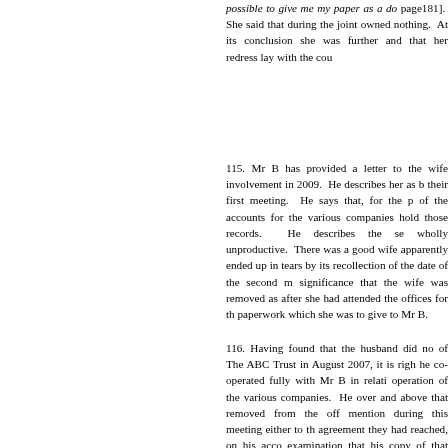possible to give me my paper as a do…page181]. She said that during the joint… owned nothing. At its conclusion she was… further and that her redress lay with the cou…
115. Mr B has provided a letter to the wife… involvement in 2009. He describes her as b… their first meeting. He says that, for the p… of the accounts for the various companies… hold those records. He describes the se… wholly unproductive. There was a good … wife apparently ended up in tears by its… recollection of the date of the second m… significance that the wife was removed as … after she had attended the offices for th… paperwork which she was to give to Mr B.
116. Having found that the husband did no… of The ABC Trust in August 2007, it is righ… he co-operated fully with Mr B in relati… operation of the various companies. He … over and above that removed from the off… mention during this meeting either to th… agreement they had reached, on his acco… examination that his copy of that agree… London property. Presumably, on his ca… meeting took place. Yet for some reason w… attempt to meet the wife's entreaties for … reminding her that they had settled all the…